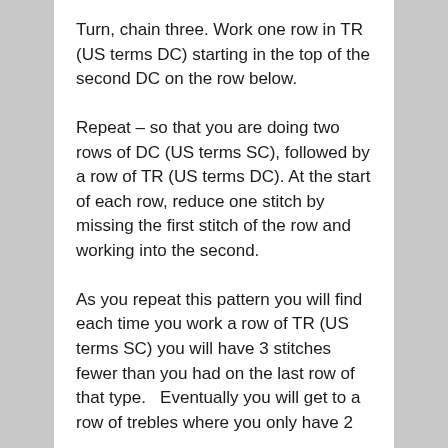Turn, chain three. Work one row in TR (US terms DC) starting in the top of the second DC on the row below.
Repeat – so that you are doing two rows of DC (US terms SC), followed by a row of TR (US terms DC). At the start of each row, reduce one stitch by missing the first stitch of the row and working into the second.
As you repeat this pattern you will find each time you work a row of TR (US terms SC) you will have 3 stitches fewer than you had on the last row of that type.   Eventually you will get to a row of trebles where you only have 2